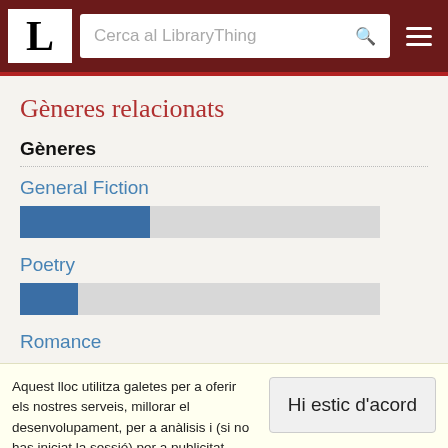Cerca al LibraryThing
Gèneres relacionats
Gèneres
General Fiction
[Figure (bar-chart): General Fiction bar]
Poetry
[Figure (bar-chart): Poetry bar]
Romance
Aquest lloc utilitza galetes per a oferir els nostres serveis, millorar el desenvolupament, per a anàlisis i (si no has iniciat la sessió) per a publicitat. Utilitzant LibraryThing acceptes que has llegit i entès els nostres Termes de servei i politica de privacitat. L'ús que facis del lloc i dels seus serveis està subjecte a aquestes politiques i termes.